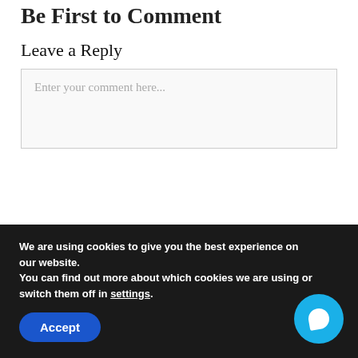Be First to Comment
Leave a Reply
Enter your comment here...
We are using cookies to give you the best experience on our website.
You can find out more about which cookies we are using or switch them off in settings.
Accept